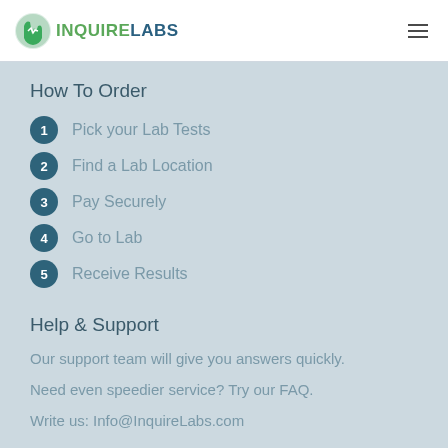INQUIRELABS
How To Order
1 Pick your Lab Tests
2 Find a Lab Location
3 Pay Securely
4 Go to Lab
5 Receive Results
Help & Support
Our support team will give you answers quickly.
Need even speedier service? Try our FAQ.
Write us: Info@InquireLabs.com